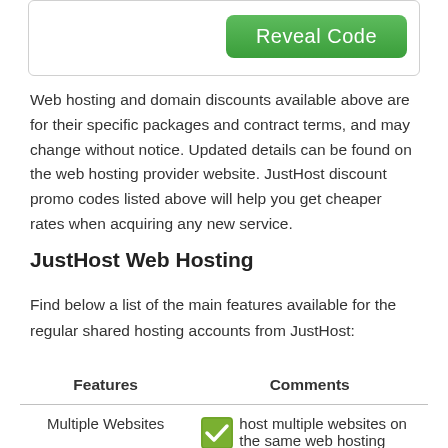[Figure (screenshot): Box with a green 'Reveal Code' button in the top right corner]
Web hosting and domain discounts available above are for their specific packages and contract terms, and may change without notice. Updated details can be found on the web hosting provider website. JustHost discount promo codes listed above will help you get cheaper rates when acquiring any new service.
JustHost Web Hosting
Find below a list of the main features available for the regular shared hosting accounts from JustHost:
| Features | Comments |
| --- | --- |
| Multiple Websites | ✓ host multiple websites on the same web hosting |